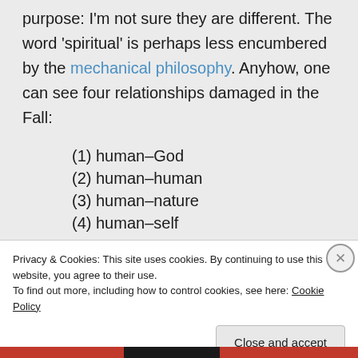purpose: I'm not sure they are different. The word 'spiritual' is perhaps less encumbered by the mechanical philosophy. Anyhow, one can see four relationships damaged in the Fall:
(1) human–God
(2) human–human
(3) human–nature
(4) human–self
Privacy & Cookies: This site uses cookies. By continuing to use this website, you agree to their use. To find out more, including how to control cookies, see here: Cookie Policy
Close and accept